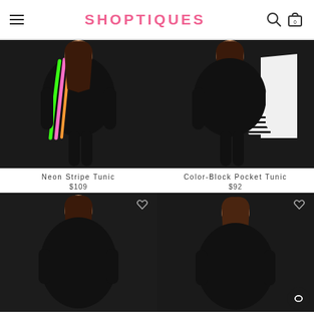SHOPTIQUES
[Figure (photo): Model wearing a black Neon Stripe Tunic with colorful neon stripes on left side]
Neon Stripe Tunic
$109
[Figure (photo): Model wearing a black Color-Block Pocket Tunic with white panel and zebra stripe pocket]
Color-Block Pocket Tunic
$92
[Figure (photo): Model wearing a black top, bottom row left product (partially visible)]
[Figure (photo): Model wearing a black top, bottom row right product (partially visible)]